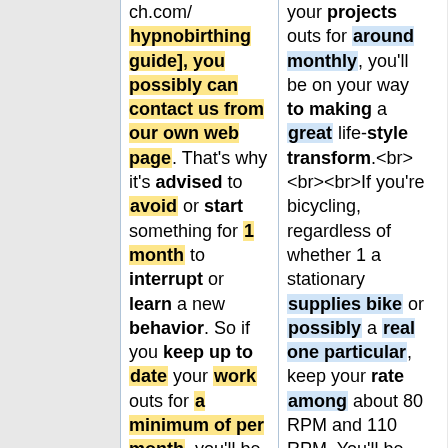ch.com/ hypnobirthing guide], you possibly can contact us from our own web page. That's why it's advised to avoid or start something for 1 month to interrupt or learn a new behavior. So if you keep up to date your work outs for a minimum of per month, you'll be soon on your way building a wonderful way of life modify.
your projects outs for around monthly, you'll be on your way to making a great life-style transform.<br><br>If you're bicycling, regardless of whether 1 a stationary supplies bike or possibly a real one particular, keep your rate among about 80 RPM and 110 RPM. You'll be capable of go considerably longer just before getting